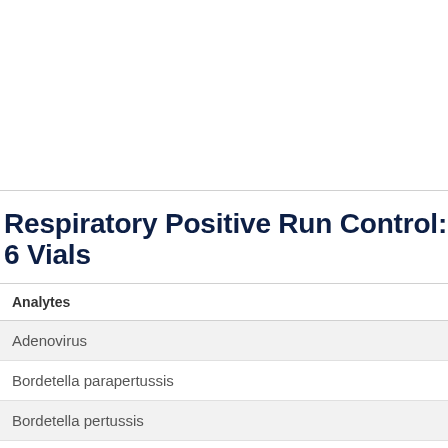Respiratory Positive Run Control: 6 Vials
| Analytes |
| --- |
| Adenovirus |
| Bordetella parapertussis |
| Bordetella pertussis |
| Chlamydophila pneumoniae |
| Coronavirus 229E |